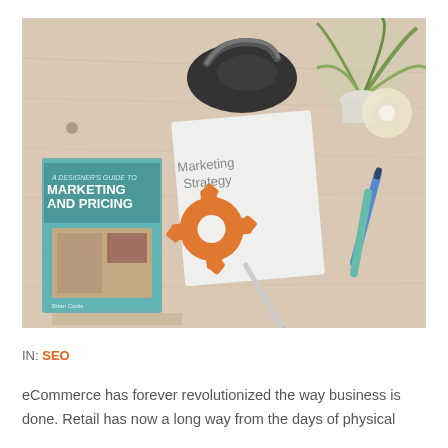[Figure (photo): Overhead flat-lay photo of a wood desk with marketing materials: a black iron, a paper labeled 'Marketing Strategy' with an orange gear icon, a book titled 'Marketing and Pricing', pens, a plant, and ribbon.]
IN: SEO
eCommerce has forever revolutionized the way business is done. Retail has now a long way from the days of physical